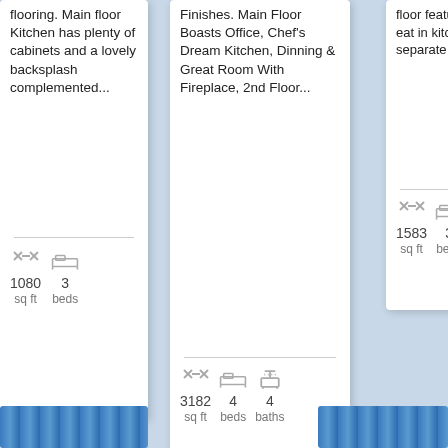flooring. Main floor Kitchen has plenty of cabinets and a lovely backsplash complemented...
1080 sq ft  3 beds
Finishes. Main Floor Boasts Office, Chef's Dream Kitchen, Dinning & Great Room With Fireplace, 2nd Floor...
3182 sq ft  4 beds  4 baths
floor features an eat in kitchen, separate dining...
1583 sq ft  3 beds  ba...